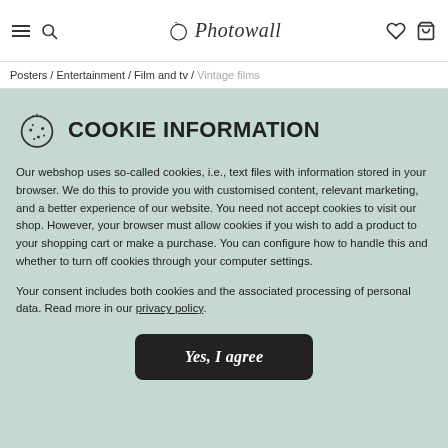Photowall — navigation header with menu, search, wishlist, cart icons
Posters / Entertainment / Film and tv / Vintage films
COOKIE INFORMATION
Our webshop uses so-called cookies, i.e., text files with information stored in your browser. We do this to provide you with customised content, relevant marketing, and a better experience of our website. You need not accept cookies to visit our shop. However, your browser must allow cookies if you wish to add a product to your shopping cart or make a purchase. You can configure how to handle this and whether to turn off cookies through your computer settings.
Your consent includes both cookies and the associated processing of personal data. Read more in our privacy policy.
Yes, I agree